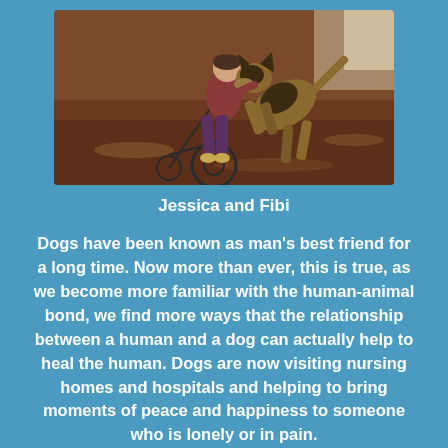[Figure (photo): A person in a wheelchair with a German Shepherd dog climbing up on them, outdoors on mulch ground]
Jessica and Fibi
Dogs have been known as man's best friend for a long time. Now more than ever, this is true, as we become more familiar with the human-animal bond, we find more ways that the relationship between a human and a dog can actually help to heal the human. Dogs are now visiting nursing homes and hospitals and helping to bring moments of peace and happiness to someone who is lonely or in pain.